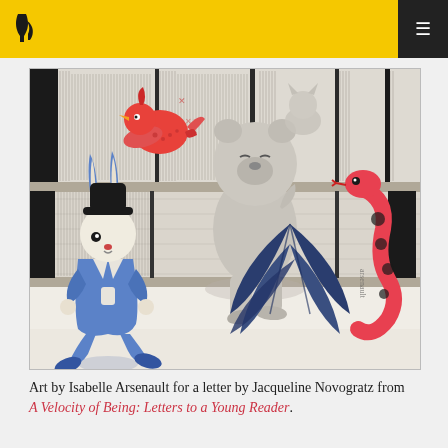Brain Pickings — navigation bar with logo and menu
[Figure (illustration): Illustration by Isabelle Arsenault showing whimsical animal characters—a blue rabbit in a coat, a large grey bear-cat walking, a red bird on a bookshelf, and a red-spotted snake with blue tropical leaves—set against a backdrop of bookshelves rendered in pencil crosshatching lines.]
Art by Isabelle Arsenault for a letter by Jacqueline Novogratz from A Velocity of Being: Letters to a Young Reader.